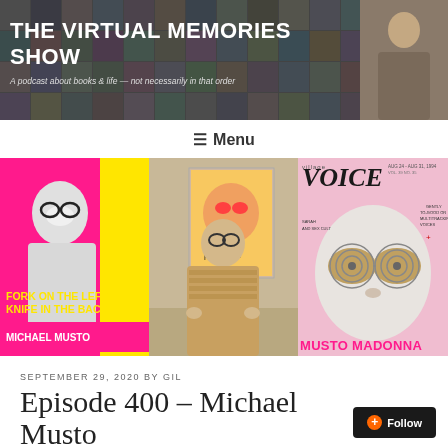[Figure (photo): The Virtual Memories Show podcast header banner with collage of faces and large text]
THE VIRTUAL MEMORIES SHOW
A podcast about books & life — not necessarily in that order
≡ Menu
[Figure (photo): Three images side by side: book cover 'Fork on the Left, Knife in the Back' by Michael Musto on pink background; photo of Michael Musto in ornate jacket; Village Voice cover with MUSTO MADONNA headline]
SEPTEMBER 29, 2020 BY GIL
Episode 400 – Michael Musto